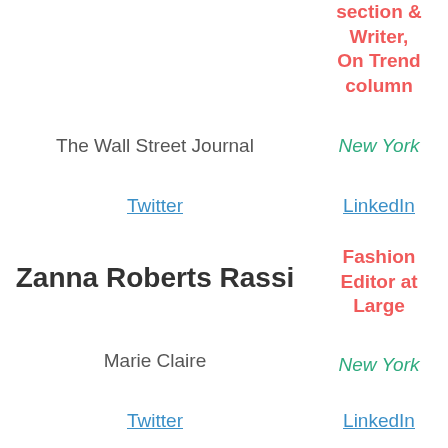section & Writer, On Trend column
The Wall Street Journal
New York
Twitter
LinkedIn
Zanna Roberts Rassi
Fashion Editor at Large
Marie Claire
New York
Twitter
LinkedIn